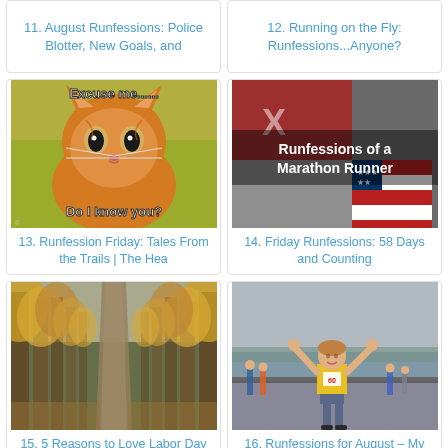11. August Runfessions: Police Blotter, New Goals, and
12. Running on the Fly: Runfessions...Anyone?
[Figure (photo): Orange cat looking up with text 'Excuse me...... Do I know you?' meme]
13. Runfession Friday: Tales From the Trails | The Hea
[Figure (photo): Running gear and American flag themed items with text 'Runfessions of a Marathon Runner']
14. Friday Runfessions: 58 Days and Counting
[Figure (photo): Autumn park path with tall trees lining a quiet road]
15. 5 Reasons to Love Labor Day
[Figure (photo): Woman in yellow shirt with arms raised finishing a race on a bridge with runners behind]
16. Runfessions for August – My First 5K and